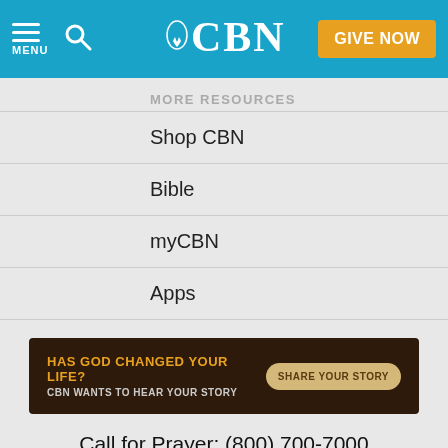CBN — MENU | Search | GIVE NOW
MORE RESOURCES
Shop CBN
Bible
myCBN
Apps
[Figure (infographic): Banner ad with dark wood background: 'HAS GOD CHANGED YOUR LIFE? CBN WANTS TO HEAR YOUR STORY' with a 'SHARE YOUR STORY' button]
Call for Prayer: (800) 700-7000
Donor Privacy Policy   Privacy Notice   Terms of Use
CBN Cookie Policy   Third Party Cookies   Cookie Settings
© 2022 The Christian Broadcasting Network, Inc., A nonprofit 501 (c)